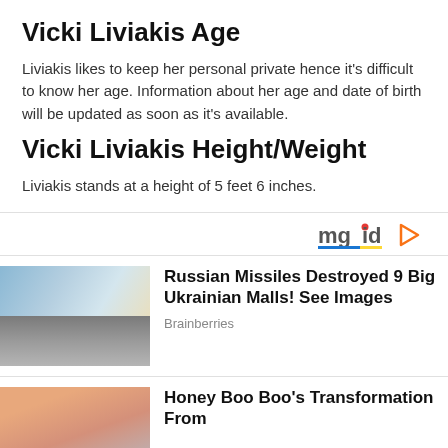Vicki Liviakis Age
Liviakis likes to keep her personal private hence it's difficult to know her age. Information about her age and date of birth will be updated as soon as it's available.
Vicki Liviakis Height/Weight
Liviakis stands at a height of 5 feet 6 inches.
[Figure (logo): mgid logo with play button triangle]
[Figure (photo): Ad card showing destroyed Ukrainian mall with military vehicle; headline: Russian Missiles Destroyed 9 Big Ukrainian Malls! See Images; source: Brainberries]
[Figure (photo): Ad card showing woman's face; headline: Honey Boo Boo's Transformation From]